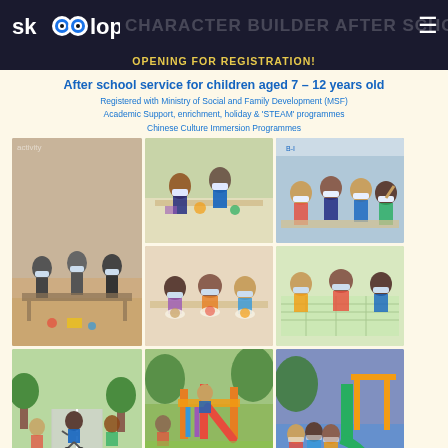skoolopedia — CHARACTER BUILDER AFTER SCHOOL
OPENING FOR REGISTRATION!
After school service for children aged 7 – 12 years old
Registered with Ministry of Social and Family Development (MSF)
Academic Support, enrichment, holiday & 'STEAM' programmes
Chinese Culture Immersion Programmes
[Figure (photo): Collage of 9 photos showing children aged 7-12 in various after-school activities including crafts, cooking/food activities at tables, outdoor playground activities]
Primary Schools
Alexandra > Anglo Chinese School (Junior) > Bukit Timah > Catholic High > CHU Kellock > Fairfield Methodist > Gan Eng Seng > Henry Park > Pei Hwa > Queenstown > Radin Mas > Raffles Girls > River valley > Singapore Chinese Girls > Zhangde